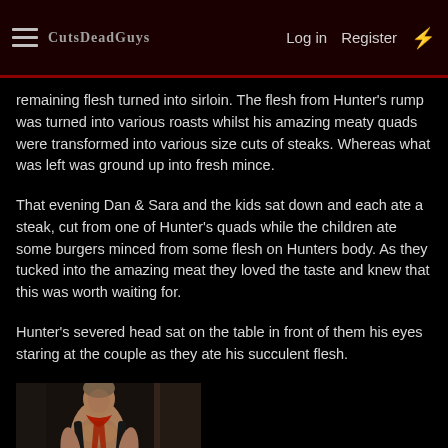CutsDead Guys — Log in  Register
remaining flesh turned into sirloin. The flesh from Hunter's rump was turned into various roasts whilst his amazing meaty quads were transformed into various size cuts of steaks. Whereas what was left was ground up into fresh mince.
That evening Dan & Sara and the kids sat down and each ate a steak, cut from one of Hunter's quads while the children ate some burgers minced from some flesh on Hunters body. As they tucked into the amazing meat they loved the taste and knew that this was worth waiting for.
Hunter's severed head sat on the table in front of them his eyes staring at the couple as they ate his succulent flesh.
[Figure (photo): A shirtless muscular young man with a red accessory around his neck, standing near a dark doorway or window frame.]